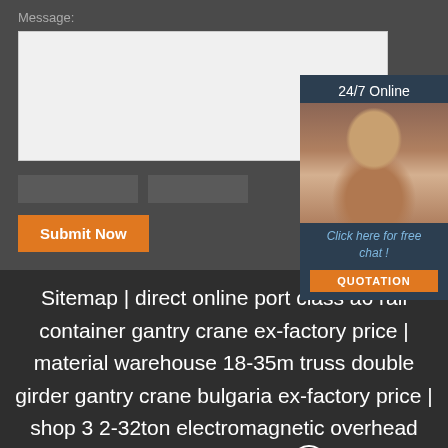Message:
[Figure (screenshot): Message text area input box (light gray background)]
[Figure (photo): 24/7 Online chat widget with photo of woman with headset, 'Click here for free chat!' text, and QUOTATION button]
Submit Now
Sitemap | direct online port class a6 rail container gantry crane ex-factory price | material warehouse 18-35m truss double girder gantry crane bulgaria ex-factory price | shop 3 2-32ton electromagnetic overhead crane morocco manufacturer